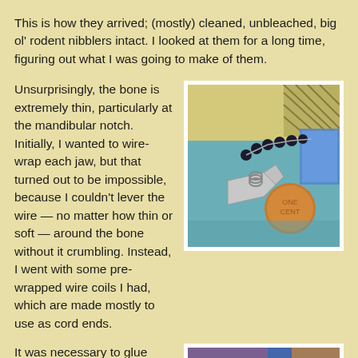This is how they arrived; (mostly) cleaned, unbleached, big ol' rodent nibblers intact. I looked at them for a long time, figuring out what I was going to make of them.
Unsurprisingly, the bone is extremely thin, particularly at the mandibular notch. Initially, I wanted to wire-wrap each jaw, but that turned out to be impossible, because I couldn't lever the wire — no matter how thin or soft — around the bone without it crumbling. Instead, I went with some pre-wrapped wire coils I had, which are made mostly to use as cord ends.
[Figure (photo): Close-up photo of small bone jaw pieces with a penny for scale, alongside beaded chain jewelry on a blue-teal surface with decorative background]
It was necessary to glue them in place, using a thick super glue gel, which helped to fill in
[Figure (photo): Hand holding a delicate chain necklace with beads and a pendant, against a blurred colorful background]